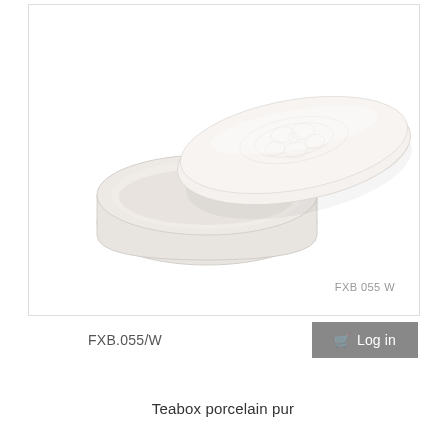[Figure (photo): White porcelain teabox with oval lid slightly open, showing the interior of the box. The lid has embossed floral/decorative pattern on top. Product is all white on a white background.]
FXB 055 W
FXB.055/W
Log in
Teabox porcelain pur